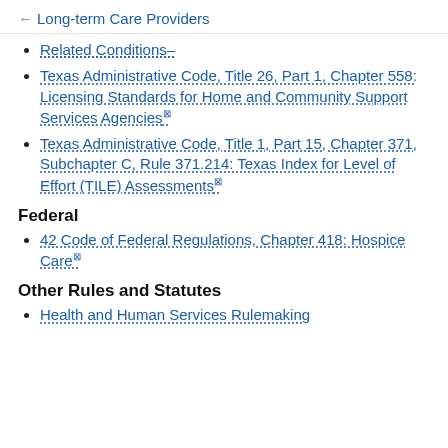← Long-term Care Providers
Related Conditions–
Texas Administrative Code, Title 26, Part 1, Chapter 558: Licensing Standards for Home and Community Support Services Agencies(n)
Texas Administrative Code, Title 1, Part 15, Chapter 371, Subchapter C, Rule 371.214: Texas Index for Level of Effort (TILE) Assessments(n)
Federal
42 Code of Federal Regulations, Chapter 418: Hospice Care(n)
Other Rules and Statutes
Health and Human Services Rulemaking